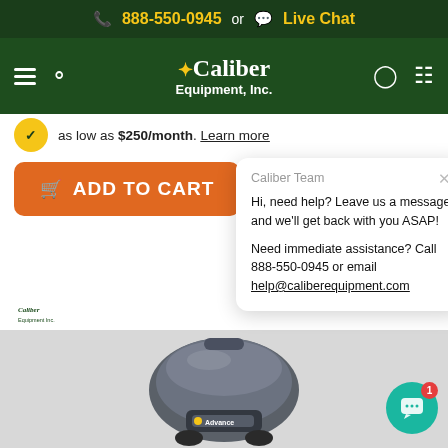888-550-0945 or Live Chat
[Figure (logo): Caliber Equipment, Inc. logo with star burst, navigation icons (hamburger, search, user, cart) on dark green background]
as low as $250/month. Learn more
ADD TO CART
Caliber Team
Hi, need help? Leave us a message and we'll get back with you ASAP!
Need immediate assistance? Call 888-550-0945 or email help@caliberequipment.com
[Figure (logo): Small Caliber Equipment Inc. logo]
[Figure (photo): Advance brand floor scrubber machine, gray/charcoal color, photographed from above-front angle]